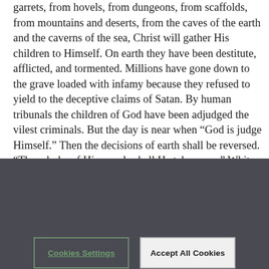garrets, from hovels, from dungeons, from scaffolds, from mountains and deserts, from the caves of the earth and the caverns of the sea, Christ will gather His children to Himself. On earth they have been destitute, afflicted, and tormented. Millions have gone down to the grave loaded with infamy because they refused to yield to the deceptive claims of Satan. By human tribunals the children of God have been adjudged the vilest criminals. But the day is near when “God is judge Himself.” Then the decisions of earth shall be reversed. “The rebuke of His people shall He take away.” White robes will be given to every one of them. And “they shall call them the holy people, the redeemed of the Lord.”—Christ's Object
We use cookies to personalize content and ads, to provide social media features, and to analyze our traffic. We also share information about your use of our site with our social media, advertising, and analytics partners.